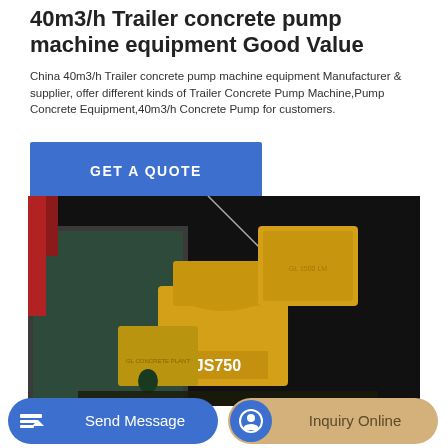40m3/h Trailer concrete pump machine equipment Good Value
China 40m3/h Trailer concrete pump machine equipment Manufacturer & supplier, offer different kinds of Trailer Concrete Pump Machine,Pump Concrete Equipment,40m3/h Concrete Pump for customers.
[Figure (other): Blue button with text GET A QUOTE]
[Figure (photo): Yellow concrete mixer labeled JS750 being lifted by crane at night near shipping containers]
[Figure (other): Bottom navigation bar with Send Message and Inquiry Online buttons]